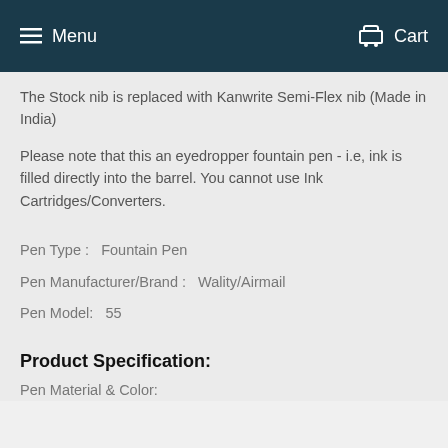Menu   Cart
The Stock nib is replaced with Kanwrite Semi-Flex nib (Made in India)
Please note that this an eyedropper fountain pen - i.e, ink is filled directly into the barrel. You cannot use Ink Cartridges/Converters.
Pen Type :   Fountain Pen
Pen Manufacturer/Brand :   Wality/Airmail
Pen Model:   55
Product Specification:
Pen Material & Color: